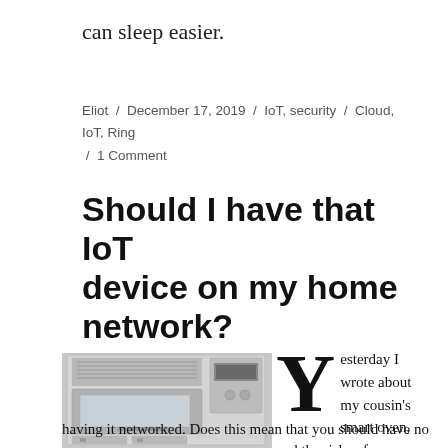can sleep easier.
Eliot / December 17, 2019 / IoT, security / Cloud, IoT, Ring / 1 Comment
Should I have that IoT device on my home network?
[Figure (photo): Photo of a stainless steel smart oven/appliance unit with vents, display panel, and cabinet sections]
Yesterday I wrote about my cousin's smart oven, and the risks of having it networked. Does this mean that you should have no